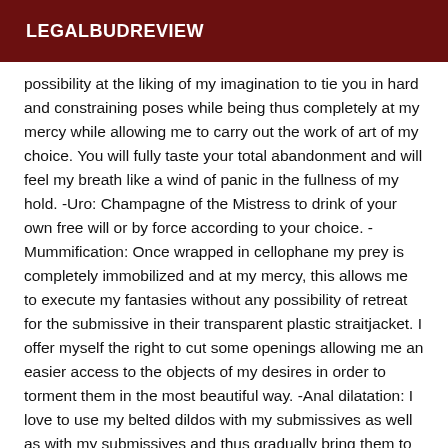LEGALBUDREVIEW
possibility at the liking of my imagination to tie you in hard and constraining poses while being thus completely at my mercy while allowing me to carry out the work of art of my choice. You will fully taste your total abandonment and will feel my breath like a wind of panic in the fullness of my hold. -Uro: Champagne of the Mistress to drink of your own free will or by force according to your choice. -Mummification: Once wrapped in cellophane my prey is completely immobilized and at my mercy, this allows me to execute my fantasies without any possibility of retreat for the submissive in their transparent plastic straitjacket. I offer myself the right to cut some openings allowing me an easier access to the objects of my desires in order to torment them in the most beautiful way. -Anal dilatation: I love to use my belted dildos with my submissives as well as with my submissives and thus gradually bring them to a sufficient anal dilatation of the anus or vagina. I